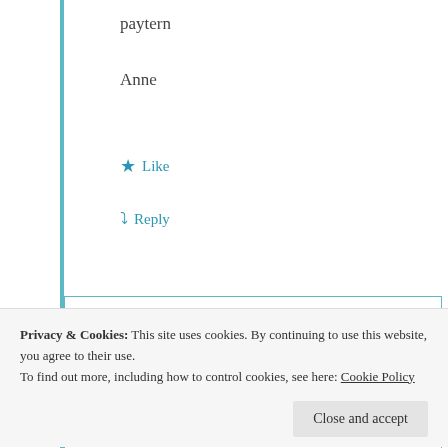paytern
Anne
★ Like
↪ Reply
Anne Krauskopf
July 22, 2019 at 6:45 pm
Privacy & Cookies: This site uses cookies. By continuing to use this website, you agree to their use. To find out more, including how to control cookies, see here: Cookie Policy
Close and accept